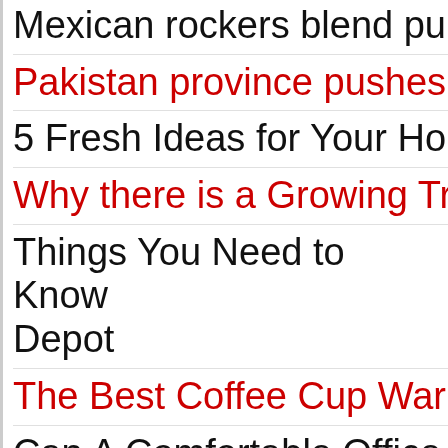Mexican rockers blend pur…
Pakistan province pushes …
5 Fresh Ideas for Your Hor…
Why there is a Growing Tre…
Things You Need to Know … Depot
The Best Coffee Cup Warm…
Can A Comfortable Office … Productivity?